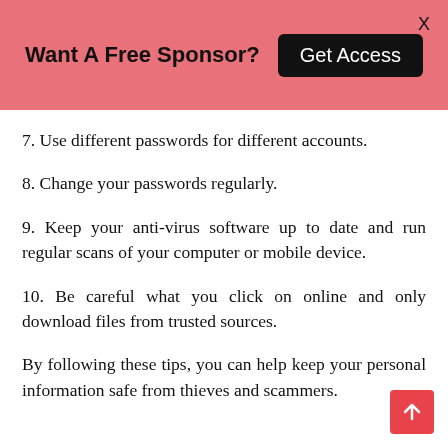[Figure (infographic): Pink banner advertisement: 'Want A Free Sponsor?' with a black 'Get Access' button and an X close button in the top-right corner.]
7. Use different passwords for different accounts.
8. Change your passwords regularly.
9. Keep your anti-virus software up to date and run regular scans of your computer or mobile device.
10. Be careful what you click on online and only download files from trusted sources.
By following these tips, you can help keep your personal information safe from thieves and scammers.